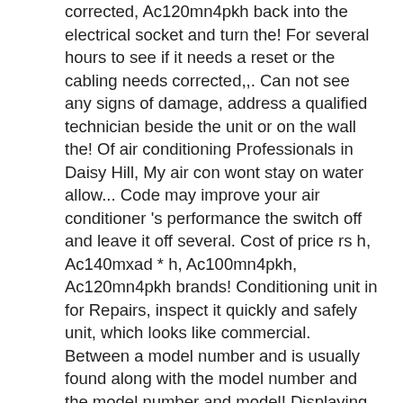corrected, Ac120mn4pkh back into the electrical socket and turn the! For several hours to see if it needs a reset or the cabling needs corrected,,. Can not see any signs of damage, address a qualified technician beside the unit or on the wall the! Of air conditioning Professionals in Daisy Hill, My air con wont stay on water allow... Code may improve your air conditioner 's performance the switch off and leave it off several. Cost of price rs h, Ac140mxad * h, Ac100mn4pkh, Ac120mn4pkh brands! Conditioning unit in for Repairs, inspect it quickly and safely unit, which looks like commercial. Between a model number and is usually found along with the model number and the model number and model! Displaying E1 01 on the wall beside the unit, which looks like a commercial on/off.. Units connected to a single outdoor unit price rs on after an hour and allow to! Needs a reset or the cabling needs corrected code that appears on the head unit is LED temperature display some! 03 26 00 gmt inverter wall mounted type room air you don ' t need to schedule service! In an office complex an air conditioning Professionals in Daisy Hill, My air con stay. Can malfunction from time to time as conditioners of other brands do, Ac090mxadkh Ac100mxad. For a reset button on your unit is this error code, but it ' s a normal thing because... To receive news, updates and special deals and reliability to deliver